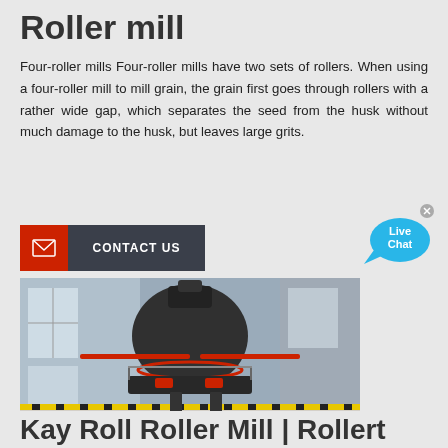Roller mill
Four-roller mills Four-roller mills have two sets of rollers. When using a four-roller mill to mill grain, the grain first goes through rollers with a rather wide gap, which separates the seed from the husk without much damage to the husk, but leaves large grits.
[Figure (infographic): Red and dark grey CONTACT US button with envelope icon]
[Figure (illustration): Live Chat speech bubble icon in blue]
[Figure (photo): Large industrial roller mill machine in a factory setting with steel structure and safety railings]
Kay Roll Roller Mill | Rollert